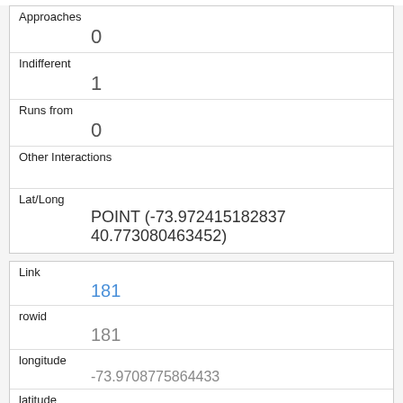| Field | Value |
| --- | --- |
| Approaches | 0 |
| Indifferent | 1 |
| Runs from | 0 |
| Other Interactions |  |
| Lat/Long | POINT (-73.972415182837 40.773080463452) |
| Field | Value |
| --- | --- |
| Link | 181 |
| rowid | 181 |
| longitude | -73.9708775864433 |
| latitude | 40.772473633538 |
| Unique Squirrel ID | 10E-PM-1010-13 |